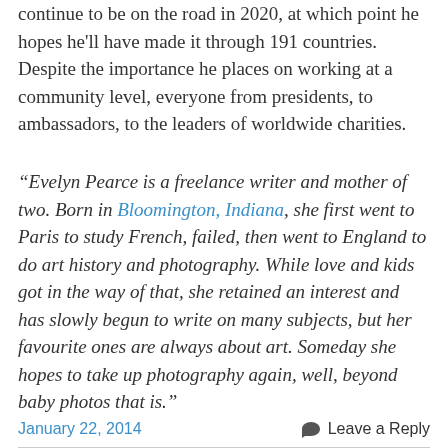continue to be on the road in 2020, at which point he hopes he'll have made it through 191 countries. Despite the importance he places on working at a community level, everyone from presidents, to ambassadors, to the leaders of worldwide charities.
“Evelyn Pearce is a freelance writer and mother of two. Born in Bloomington, Indiana, she first went to Paris to study French, failed, then went to England to do art history and photography. While love and kids got in the way of that, she retained an interest and has slowly begun to write on many subjects, but her favourite ones are always about art. Someday she hopes to take up photography again, well, beyond baby photos that is.”
January 22, 2014   Leave a Reply